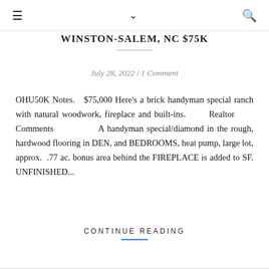≡  ∨  🔍
WINSTON-SALEM, NC $75K
July 28, 2022 / 1 Comment
OHU50K Notes.  $75,000 Here's a brick handyman special ranch with natural woodwork, fireplace and built-ins.  Realtor Comments  A handyman special/diamond in the rough, hardwood flooring in DEN, and BEDROOMS, heat pump, large lot, approx.  .77 ac. bonus area behind the FIREPLACE is added to SF. UNFINISHED...
CONTINUE READING